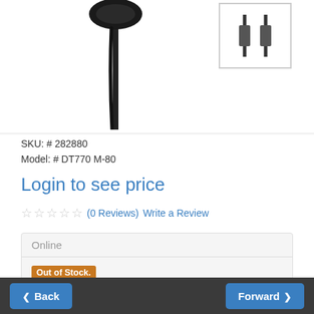[Figure (photo): Product photo of a headphone/microphone with cable hanging down, partial view cropped at top]
[Figure (photo): Small thumbnail image of a cable/connector in a bordered box]
SKU: # 282880
Model: # DT770 M-80
Login to see price
☆☆☆☆☆ (0 Reviews)  Write a Review
Online
Out of Stock.  Product can be ordered. Delivery from our supplier is usually within 10 business days.
1  Add to Cart
Back   Forward